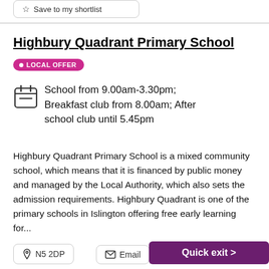Save to my shortlist
Highbury Quadrant Primary School
LOCAL OFFER
School from 9.00am-3.30pm; Breakfast club from 8.00am; After school club until 5.45pm
Highbury Quadrant Primary School is a mixed community school, which means that it is financed by public money and managed by the Local Authority, which also sets the admission requirements. Highbury Quadrant is one of the primary schools in Islington offering free early learning for...
N5 2DP
Email
Quick exit >